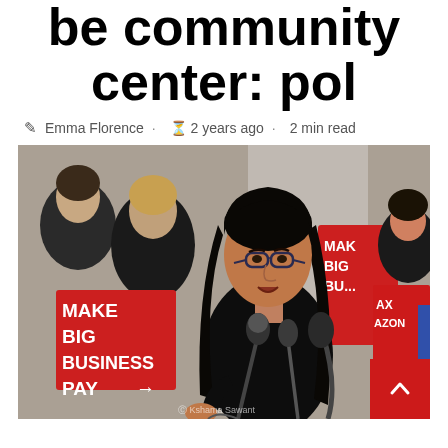be community center: pol
Emma Florence · 2 years ago · 2 min read
[Figure (photo): A woman with long dark hair and glasses speaks at a press conference with microphones in front of her. She is surrounded by people holding red signs reading 'MAKE BIG BUSINESS PAY' and 'TAX AMAZON'. A 'Kshama Sawant' watermark appears at the bottom left.]